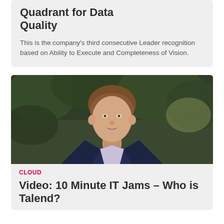Quadrant for Data Quality
This is the company's third consecutive Leader recognition based on Ability to Execute and Completeness of Vision.
[Figure (photo): Headshot of a man in a dark suit and light shirt, outdoors with green foliage in background]
CLOUD
Video: 10 Minute IT Jams – Who is Talend?